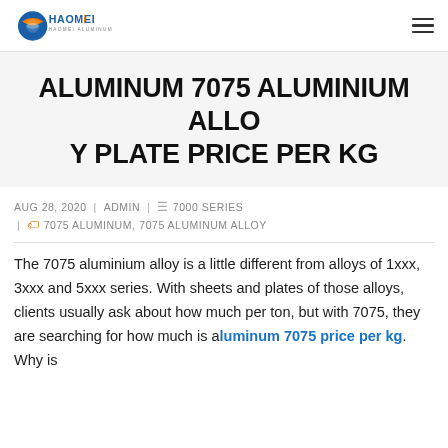HAOMEI ALUMINUM logo and navigation
ALUMINUM 7075 ALUMINIUM ALLOY PLATE PRICE PER KG
AUG 28, 2020 | ADMIN | 7000 SERIES | 7075 ALUMINUM, 7075 ALUMINUM ALLOY
The 7075 aluminium alloy is a little different from alloys of 1xxx, 3xxx and 5xxx series. With sheets and plates of those alloys, clients usually ask about how much per ton, but with 7075, they are searching for how much is aluminum 7075 price per kg. Why is